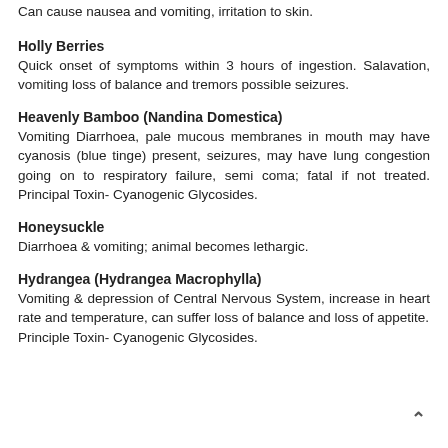Can cause nausea and vomiting, irritation to skin.
Holly Berries
Quick onset of symptoms within 3 hours of ingestion. Salavation, vomiting loss of balance and tremors possible seizures.
Heavenly Bamboo (Nandina Domestica)
Vomiting Diarrhoea, pale mucous membranes in mouth may have cyanosis (blue tinge) present, seizures, may have lung congestion going on to respiratory failure, semi coma; fatal if not treated. Principal Toxin- Cyanogenic Glycosides.
Honeysuckle
Diarrhoea & vomiting; animal becomes lethargic.
Hydrangea (Hydrangea Macrophylla)
Vomiting & depression of Central Nervous System, increase in heart rate and temperature, can suffer loss of balance and loss of appetite. Principle Toxin- Cyanogenic Glycosides.